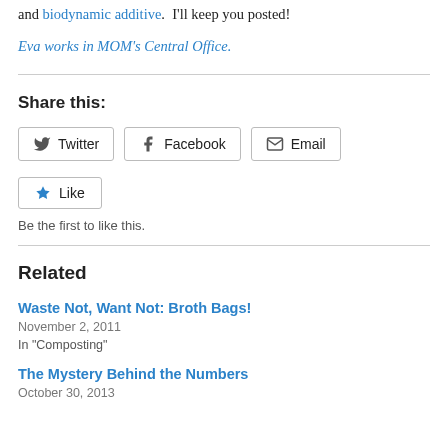and biodynamic additive.  I'll keep you posted!
Eva works in MOM's Central Office.
Share this:
Twitter  Facebook  Email
Like
Be the first to like this.
Related
Waste Not, Want Not: Broth Bags!
November 2, 2011
In "Composting"
The Mystery Behind the Numbers
October 30, 2013